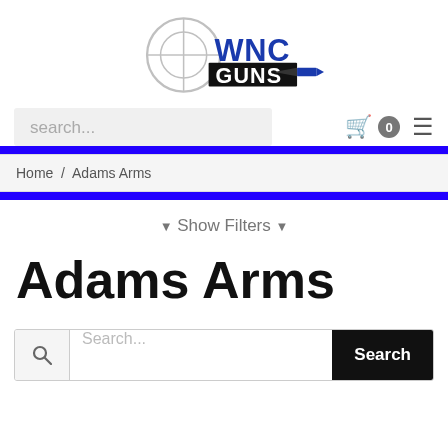[Figure (logo): WNC Guns logo with crosshair and bullet graphic, blue and black colors]
search...
🛒 0 ≡
Home / Adams Arms
▼ Show Filters ▼
Adams Arms
Search...